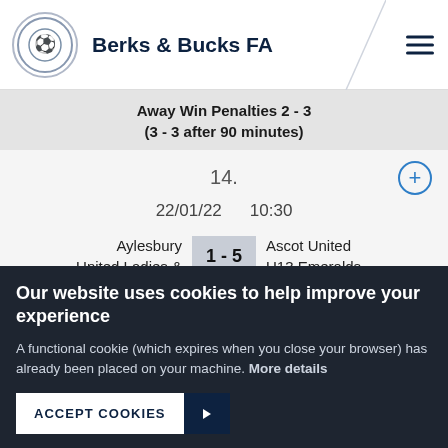Berks & Bucks FA
Away Win Penalties 2 - 3
(3 - 3 after 90 minutes)
14.
22/01/22   10:30
| Home | Score | Away |
| --- | --- | --- |
| Aylesbury United Ladies & | 1 - 5 | Ascot United U13 Emeralds |
Our website uses cookies to help improve your experience
A functional cookie (which expires when you close your browser) has already been placed on your machine. More details
ACCEPT COOKIES